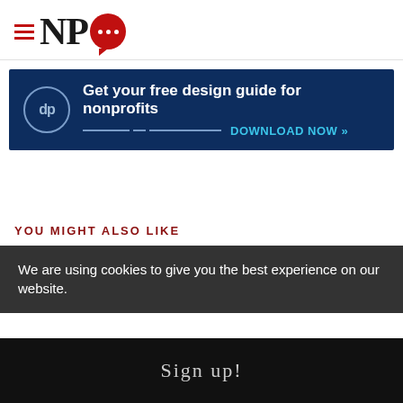NPQ logo with hamburger menu
[Figure (infographic): Advertisement banner: dp circle logo, Get your free design guide for nonprofits, DOWNLOAD NOW >>]
YOU MIGHT ALSO LIKE
Black Americans Need
We are using cookies to give you the best experience on our website.
Sign up!